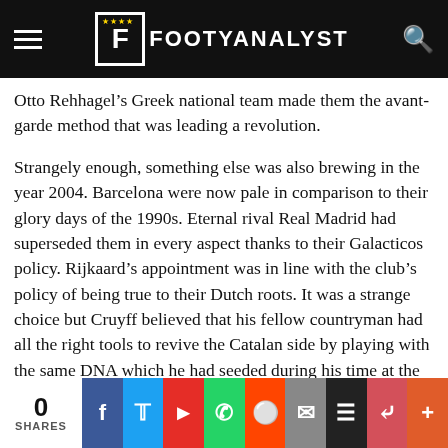FOOTYANALYST
Otto Rehhagel’s Greek national team made them the avant-garde method that was leading a revolution.
Strangely enough, something else was also brewing in the year 2004. Barcelona were now pale in comparison to their glory days of the 1990s. Eternal rival Real Madrid had superseded them in every aspect thanks to their Galacticos policy. Rijkaard’s appointment was in line with the club’s policy of being true to their Dutch roots. It was a strange choice but Cruyff believed that his fellow countryman had all the right tools to revive the Catalan side by playing with the same DNA which he had seeded during his time at the club.
0 SHARES | Facebook | Twitter | Flipboard | WhatsApp | Reddit | Email | Buffer | Pocket | More